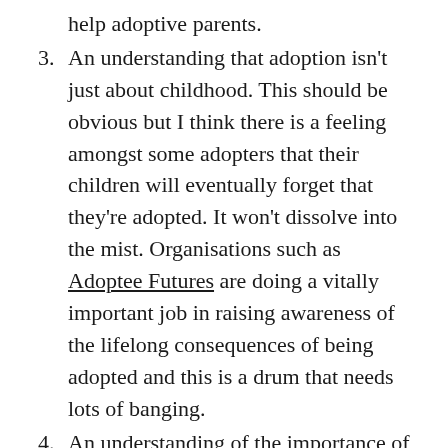help adoptive parents.
3. An understanding that adoption isn't just about childhood. This should be obvious but I think there is a feeling amongst some adopters that their children will eventually forget that they're adopted. It won't dissolve into the mist. Organisations such as Adoptee Futures are doing a vitally important job in raising awareness of the lifelong consequences of being adopted and this is a drum that needs lots of banging.
4. An understanding of the importance of heritage, keeping in touch with birth family, and the feelings involved in reunion. How To Be Adopted has written brilliantly about the fetishization of blood ties and